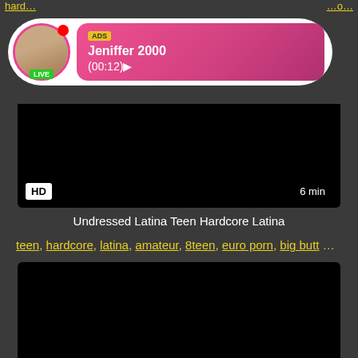hard… (truncated link top left)
…o… (truncated link top right)
[Figure (screenshot): Ad overlay with profile photo of Jeniffer 2000, LIVE badge, red notification dot, pink gradient bubble showing ADS label and name Jeniffer 2000 (00:12)]
[Figure (screenshot): Black video player thumbnail with HD badge bottom-left and 6 min badge bottom-right]
Undressed Latina Teen Hardcore Latina
teen, hardcore, latina, amateur, 8teen, euro porn, big butt ...
[Figure (screenshot): Second black video player thumbnail, partially visible]